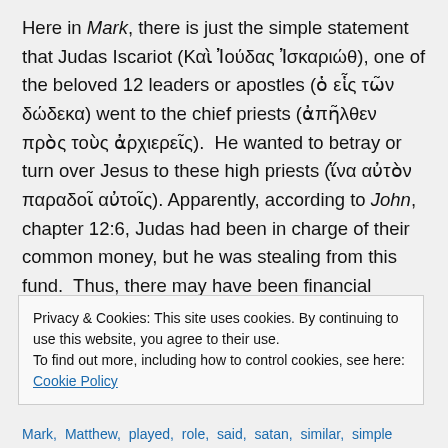Here in Mark, there is just the simple statement that Judas Iscariot (Καὶ Ἰούδας Ἰσκαριώθ), one of the beloved 12 leaders or apostles (ὁ εἷς τῶν δώδεκα) went to the chief priests (ἀπῆλθεν πρὸς τοὺς ἀρχιερεῖς). He wanted to betray or turn over Jesus to these high priests (ἵνα αὐτὸν παραδοῖ αὐτοῖς). Apparently, according to John, chapter 12:6, Judas had been in charge of their common money, but he was stealing from this fund. Thus, there may have been financial reasons or greed pushing Judas to
Privacy & Cookies: This site uses cookies. By continuing to use this website, you agree to their use.
To find out more, including how to control cookies, see here: Cookie Policy
Close and accept
Mark, Matthew, played, role, said, satan, similar, simple